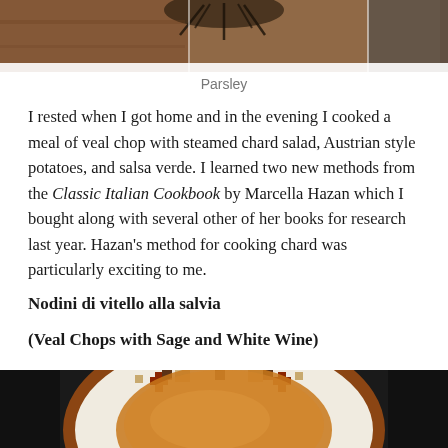[Figure (photo): Top portion of a photo showing parsley or herbs on a wooden surface, partially cropped]
Parsley
I rested when I got home and in the evening I cooked a meal of veal chop with steamed chard salad, Austrian style potatoes, and salsa verde. I learned two new methods from the Classic Italian Cookbook by Marcella Hazan which I bought along with several other of her books for research last year. Hazan’s method for cooking chard was particularly exciting to me.
Nodini di vitello alla salvia
(Veal Chops with Sage and White Wine)
[Figure (photo): Bottom portion of a photo showing a decorative plate with geometric patterns and what appears to be food]